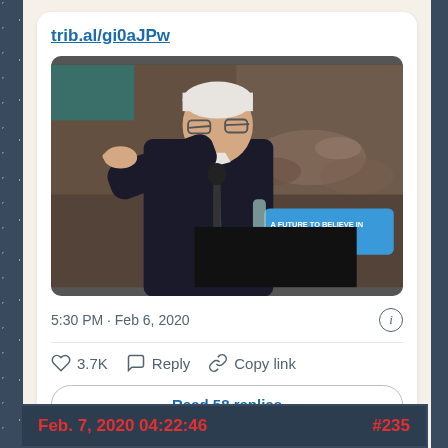trib.al/gi0aJPw
[Figure (photo): Man in dark suit pointing at microphone at a podium with 'A FUTURE TO BELIEVE IN' sign]
5:30 PM · Feb 6, 2020
3.7K  Reply  Copy link
Read 58 replies
Feb. 7, 2020 04:22:46  #235